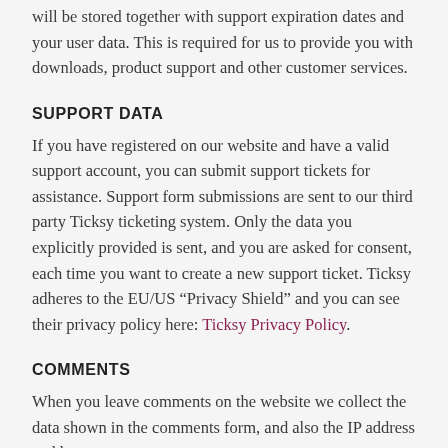will be stored together with support expiration dates and your user data. This is required for us to provide you with downloads, product support and other customer services.
SUPPORT DATA
If you have registered on our website and have a valid support account, you can submit support tickets for assistance. Support form submissions are sent to our third party Ticksy ticketing system. Only the data you explicitly provided is sent, and you are asked for consent, each time you want to create a new support ticket. Ticksy adheres to the EU/US “Privacy Shield” and you can see their privacy policy here: Ticksy Privacy Policy.
COMMENTS
When you leave comments on the website we collect the data shown in the comments form, and also the IP address and browser user